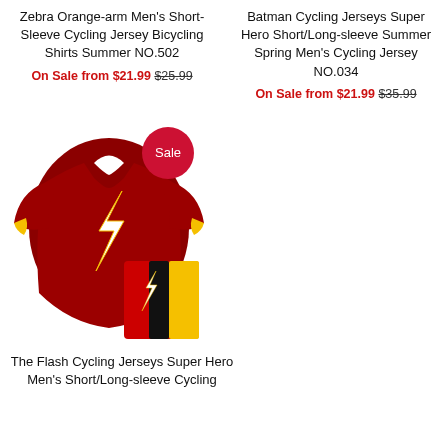Zebra Orange-arm Men's Short-Sleeve Cycling Jersey Bicycling Shirts Summer NO.502
On Sale from $21.99 $25.99
Batman Cycling Jerseys Super Hero Short/Long-sleeve Summer Spring Men's Cycling Jersey NO.034
On Sale from $21.99 $35.99
[Figure (photo): The Flash cycling jersey (red with lightning bolt logo) and matching red/black/yellow shorts with Sale badge]
The Flash Cycling Jerseys Super Hero Men's Short/Long-sleeve Cycling